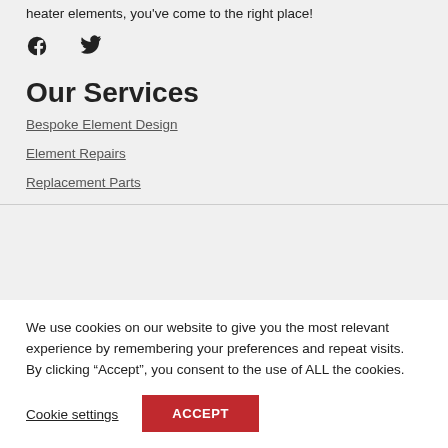heater elements, you've come to the right place!
[Figure (illustration): Facebook and Twitter social media icons]
Our Services
Bespoke Element Design
Element Repairs
Replacement Parts
We use cookies on our website to give you the most relevant experience by remembering your preferences and repeat visits. By clicking “Accept”, you consent to the use of ALL the cookies.
Cookie settings
ACCEPT